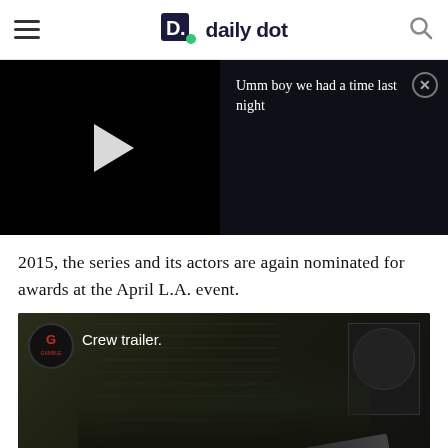daily dot
[Figure (screenshot): Embedded video player split into two panels: left panel is black background with white play button triangle; right panel dark background with text 'Umm boy we had a time last night' and a circular close button (X) in top right.]
2015, the series and its actors are again nominated for awards at the April L.A. event.
[Figure (screenshot): Embedded video thumbnail showing a man in a dark shirt holding a gun, with a Gamble Productions logo circle in the top left and 'Crew trailer.' text overlay on a dark background with posters visible behind.]